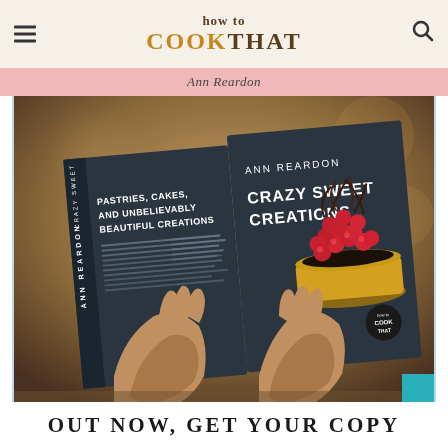how to COOK THAT
Ann Reardon
[Figure (photo): Person holding open a dark navy book titled 'Ann Reardon: Crazy Sweet Creations' with subtitle 'Pastries, Cakes, and Unbelievably Beautiful Creations' on the back cover, and a raspberry tart on the front cover with the How to Cook That logo]
OUT NOW, GET YOUR COPY